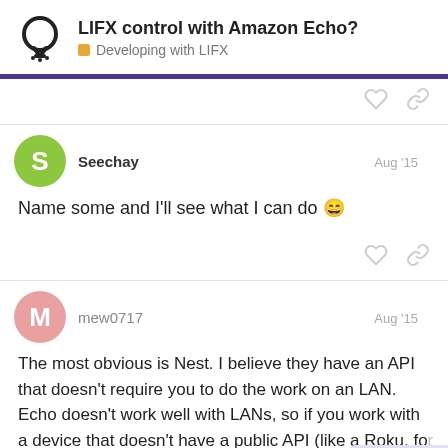LIFX control with Amazon Echo? — Developing with LIFX
Name some and I'll see what I can do 😀
Seechay — Aug '15
mew0717 — Aug '15
The most obvious is Nest. I believe they have an API that doesn't require you to do the work on an LAN. Echo doesn't work well with LANs, so if you work with a device that doesn't have a public API (like a Roku, fo... to either port-forward or set up an intern...
9 / 24